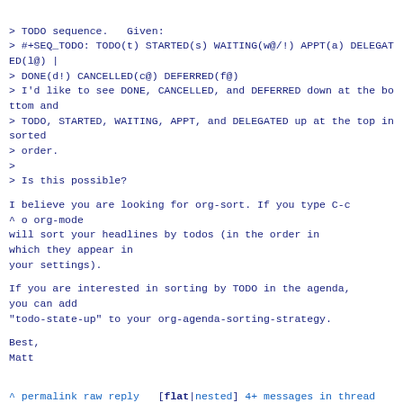> TODO sequence.   Given:
> #+SEQ_TODO: TODO(t) STARTED(s) WAITING(w@/!) APPT(a) DELEGATED(l@) |
> DONE(d!) CANCELLED(c@) DEFERRED(f@)
> I'd like to see DONE, CANCELLED, and DEFERRED down at the bottom and
> TODO, STARTED, WAITING, APPT, and DELEGATED up at the top in sorted
> order.
>
> Is this possible?
I believe you are looking for org-sort. If you type C-c
^ o org-mode
will sort your headlines by todos (in the order in which they appear in
your settings).
If you are interested in sorting by TODO in the agenda, you can add
"todo-state-up" to your org-agenda-sorting-strategy.
Best,
Matt
^ permalink raw reply   [flat|nested] 4+ messages in thread
* Re: Newbie question on sorting TODO items